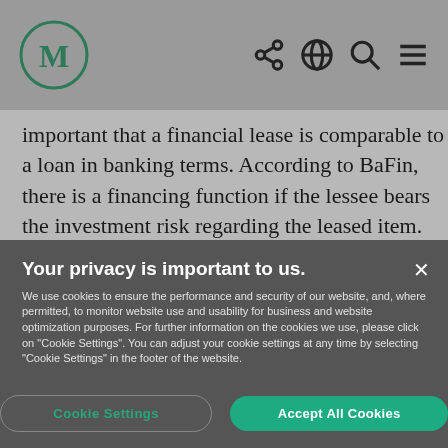M logo and navigation icons (share, globe, search, menu)
important that a financial lease is comparable to a loan in banking terms. According to BaFin, there is a financing function if the lessee bears the investment risk regarding the leased item. This, in turn, is the case if the risk regarding damage to the leased asset
Your privacy is important to us.
We use cookies to ensure the performance and security of our website, and, where permitted, to monitor website use and usability for business and website optimization purposes. For further information on the cookies we use, please click on "Cookie Settings". You can adjust your cookie settings at any time by selecting "Cookie Settings" in the footer of the website.
Cookie Settings | Accept All Cookies